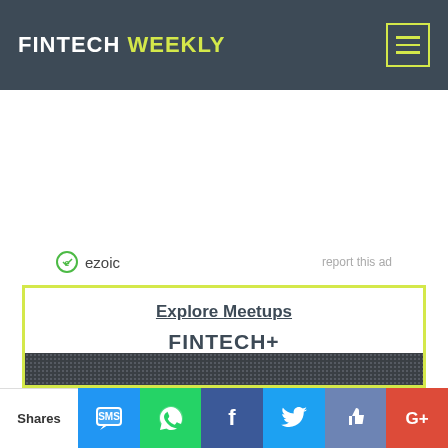FINTECH WEEKLY
[Figure (logo): Ezoic ad placeholder with ezoic logo and 'report this ad' text]
Explore Meetups
FINTECH+
[Figure (screenshot): Dark textured banner image below FINTECH+ heading]
Shares — social sharing buttons: SMS, WhatsApp, Facebook, Twitter, Like, Google+